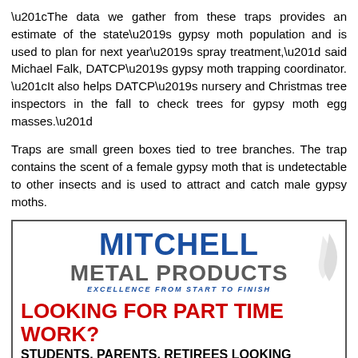“The data we gather from these traps provides an estimate of the state’s gypsy moth population and is used to plan for next year’s spray treatment,” said Michael Falk, DATCP’s gypsy moth trapping coordinator. “It also helps DATCP’s nursery and Christmas tree inspectors in the fall to check trees for gypsy moth egg masses.”
Traps are small green boxes tied to tree branches. The trap contains the scent of a female gypsy moth that is undetectable to other insects and is used to attract and catch male gypsy moths.
[Figure (illustration): Mitchell Metal Products advertisement. Logo with blue MITCHELL text, grey METAL PRODUCTS text, tagline EXCELLENCE FROM START TO FINISH, and a swoosh graphic. Red headline: LOOKING FOR PART TIME WORK? Black bold: STUDENTS, PARENTS, RETIREES LOOKING TO EARN SOME EXTRA INCOME! Bottom left: FULL TIME and BENEFITS labels. Bottom right: FLEXIBLE HOURS badge in dark/gold gradient.]